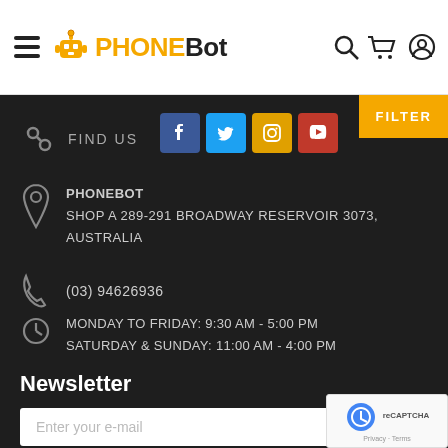PHONEBOT - navigation header with hamburger menu, logo, search, cart, and user icons
FILTER
FIND US
[Figure (other): Social media icons: Facebook, Twitter, Instagram, YouTube]
PHONEBOT
SHOP A 289-291 BROADWAY RESERVOIR 3073,
AUSTRALIA
(03) 94626936
MONDAY TO FRIDAY: 9:30 AM - 5:00 PM
SATURDAY & SUNDAY: 11:00 AM - 4:00 PM
Newsletter
Enter your e-mail